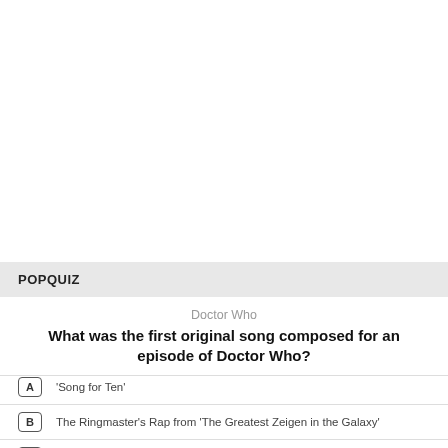POPQUIZ
Doctor Who
What was the first original song composed for an episode of Doctor Who?
A  'Song for Ten'
B  The Ringmaster's Rap from 'The Greatest Zeigen in the Galaxy'
C  'Love Don't Roam'